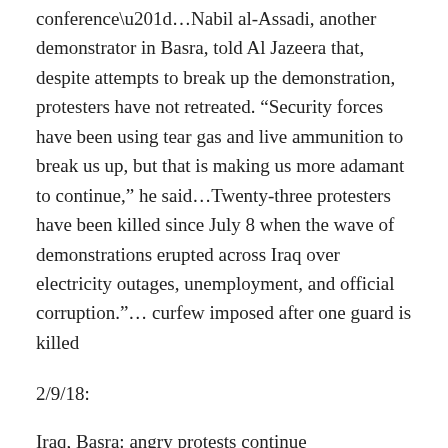conference”…Nabil al-Assadi, another demonstrator in Basra, told Al Jazeera that, despite attempts to break up the demonstration, protesters have not retreated. “Security forces have been using tear gas and live ammunition to break us up, but that is making us more adamant to continue,” he said…Twenty-three protesters have been killed since July 8 when the wave of demonstrations erupted across Iraq over electricity outages, unemployment, and official corruption.”… curfew imposed after one guard is killed
2/9/18:
Iraq, Basra: angry protests continue “Protests have resumed in the southern…